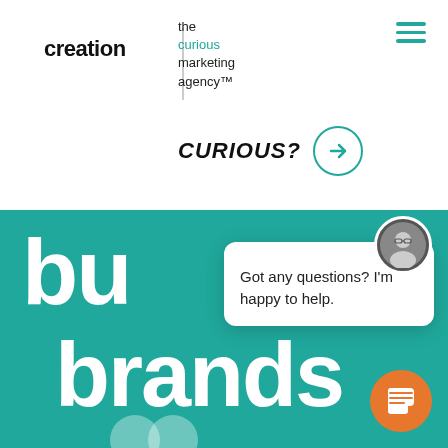creation | the curious marketing agency™
CURIOUS? →
[Figure (screenshot): Chat popup with avatar photo of a man with glasses, close button X, and message 'Got any questions? I'm happy to help.']
bu
brands
[Figure (illustration): Orange circular chat button with speech bubble icon at bottom right]